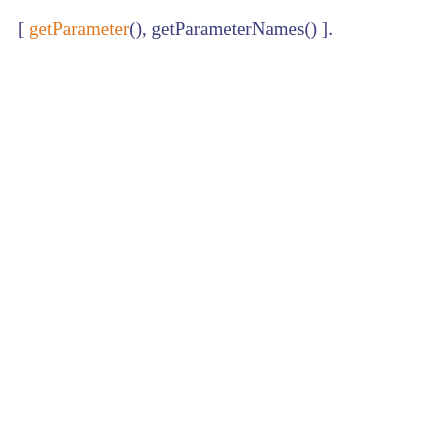[ getParameter(), getParameterNames() ].